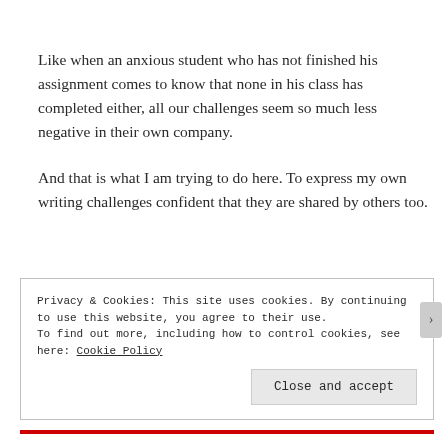Like when an anxious student who has not finished his assignment comes to know that none in his class has completed either, all our challenges seem so much less negative in their own company.
And that is what I am trying to do here. To express my own writing challenges confident that they are shared by others too.
Privacy & Cookies: This site uses cookies. By continuing to use this website, you agree to their use.
To find out more, including how to control cookies, see here: Cookie Policy

Close and accept